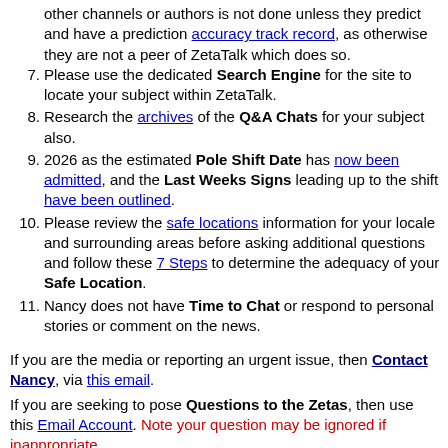other channels or authors is not done unless they predict and have a prediction accuracy track record, as otherwise they are not a peer of ZetaTalk which does so.
7. Please use the dedicated Search Engine for the site to locate your subject within ZetaTalk.
8. Research the archives of the Q&A Chats for your subject also.
9. 2026 as the estimated Pole Shift Date has now been admitted, and the Last Weeks Signs leading up to the shift have been outlined.
10. Please review the safe locations information for your locale and surrounding areas before asking additional questions and follow these 7 Steps to determine the adequacy of your Safe Location.
11. Nancy does not have Time to Chat or respond to personal stories or comment on the news.
If you are the media or reporting an urgent issue, then Contact Nancy, via this email.
If you are seeking to pose Questions to the Zetas, then use this Email Account. Note your question may be ignored if inappropriate.
Where ZetaTalk does not use secure hypertext (https)